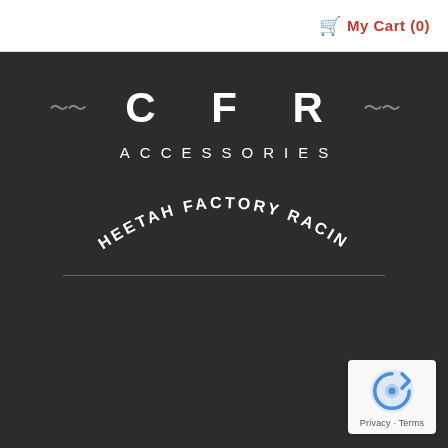My Cart (0)
[Figure (logo): CFR Accessories Cheetah Factory Racing logo on dark background with squiggle decorations and arc text]
[Figure (other): Google reCAPTCHA badge with Privacy and Terms links]